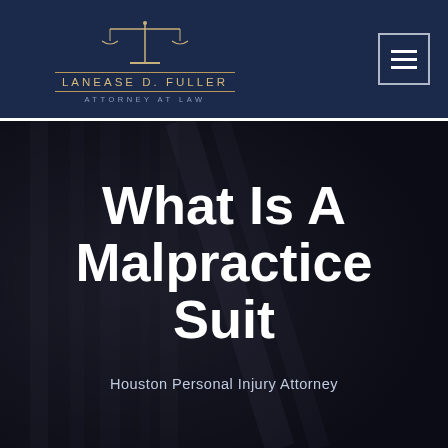[Figure (logo): Lanease D. Fuller Attorney at Law logo with scales of justice icon, gold decorative lines, and firm name in spaced lettering on dark navy background]
[Figure (other): Hamburger menu button with three horizontal white bars inside a square outlined box]
[Figure (photo): Dark moody background photo of courthouse columns or legal building architecture, heavily darkened]
What Is A Malpractice Suit
Houston Personal Injury Attorney